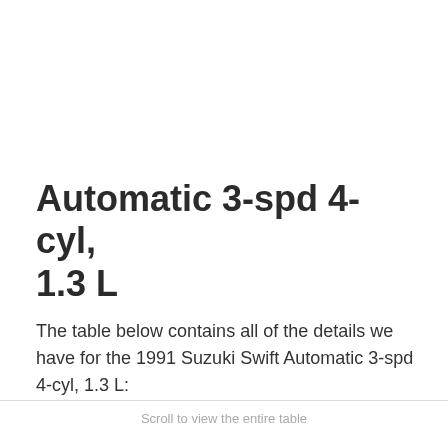Automatic 3-spd 4-cyl, 1.3 L
The table below contains all of the details we have for the 1991 Suzuki Swift Automatic 3-spd 4-cyl, 1.3 L:
Scroll to view the entire table